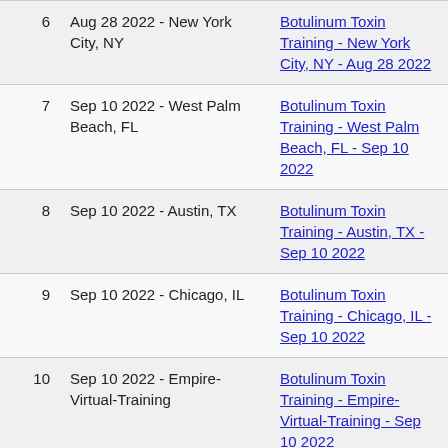| # | Date & Location | Course Link |
| --- | --- | --- |
| 6 | Aug 28 2022 - New York City, NY | Botulinum Toxin Training - New York City, NY - Aug 28 2022 |
| 7 | Sep 10 2022 - West Palm Beach, FL | Botulinum Toxin Training - West Palm Beach, FL - Sep 10 2022 |
| 8 | Sep 10 2022 - Austin, TX | Botulinum Toxin Training - Austin, TX - Sep 10 2022 |
| 9 | Sep 10 2022 - Chicago, IL | Botulinum Toxin Training - Chicago, IL - Sep 10 2022 |
| 10 | Sep 10 2022 - Empire-Virtual-Training | Botulinum Toxin Training - Empire-Virtual-Training - Sep 10 2022 |